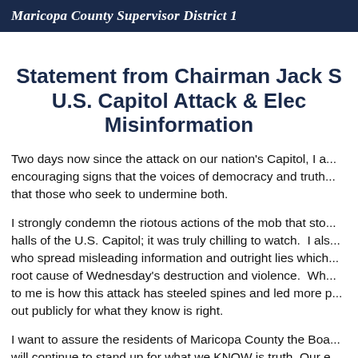Maricopa County Supervisor District 1
Statement from Chairman Jack S... U.S. Capitol Attack & Elec... Misinformation
Two days now since the attack on our nation's Capitol, I a... encouraging signs that the voices of democracy and truth... that those who seek to undermine both.
I strongly condemn the riotous actions of the mob that sto... halls of the U.S. Capitol; it was truly chilling to watch. I als... who spread misleading information and outright lies which... root cause of Wednesday's destruction and violence. Wh... to me is how this attack has steeled spines and led more p... out publicly for what they know is right.
I want to assure the residents of Maricopa County the Boa... will continue to stand up for what we KNOW is truth. Our e... secure and accurate. If people really care enough to look...